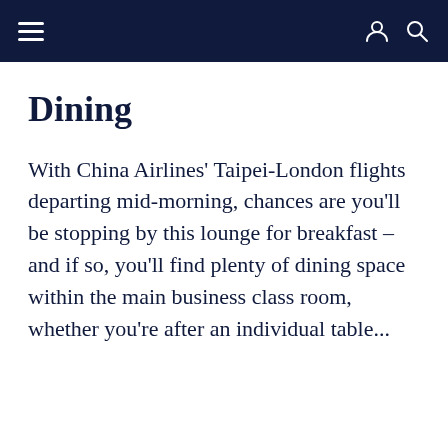Navigation bar with hamburger menu, user icon, and search icon
Dining
With China Airlines' Taipei-London flights departing mid-morning, chances are you'll be stopping by this lounge for breakfast – and if so, you'll find plenty of dining space within the main business class room, whether you're after an individual table...